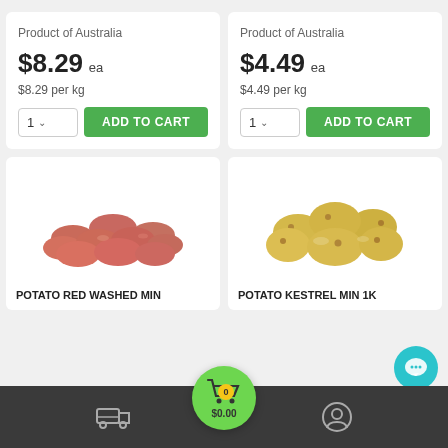Product of Australia
$8.29 ea
$8.29 per kg
Product of Australia
$4.49 ea
$4.49 per kg
[Figure (photo): Pile of red washed potatoes on white background]
POTATO RED WASHED MIN
[Figure (photo): Pile of yellow Kestrel potatoes on white background]
POTATO KESTREL MIN 1K
0  $0.00